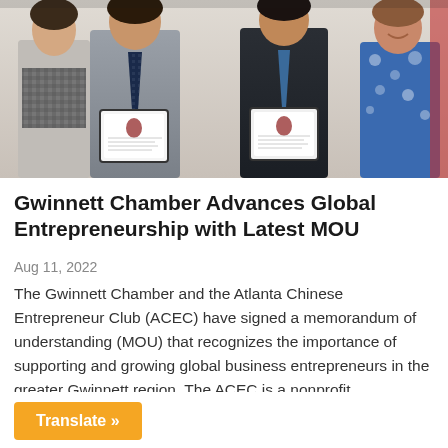[Figure (photo): Four people standing together, two men in center holding framed certificate/award documents. Woman in patterned dress on left, woman in blue floral dress on right. Formal indoor setting.]
Gwinnett Chamber Advances Global Entrepreneurship with Latest MOU
Aug 11, 2022
The Gwinnett Chamber and the Atlanta Chinese Entrepreneur Club (ACEC) have signed a memorandum of understanding (MOU) that recognizes the importance of supporting and growing global business entrepreneurs in the greater Gwinnett region. The ACEC is a nonprofit...
Translate »